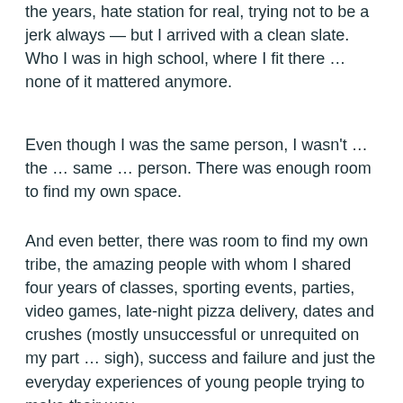the years, hate station for real, trying not to be a jerk always — but I arrived with a clean slate. Who I was in high school, where I fit there … none of it mattered anymore.
Even though I was the same person, I wasn't … the … same … person. There was enough room to find my own space.
And even better, there was room to find my own tribe, the amazing people with whom I shared four years of classes, sporting events, parties, video games, late-night pizza delivery, dates and crushes (mostly unsuccessful or unrequited on my part … sigh), success and failure and just the everyday experiences of young people trying to make their way.